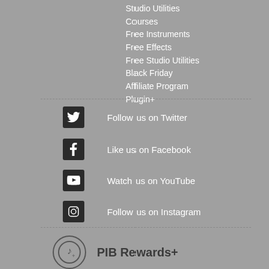Studio Utilities
Courses
Free Instruments
Free Effects
Free Studio Utilities
Black Friday
Affiliate Program
Plugin+
[Figure (logo): Twitter bird icon in white on dark square]
Follow us on Twitter
[Figure (logo): Facebook F icon in white on dark square]
Like us on Facebook
[Figure (logo): YouTube play button icon in white on dark square]
Watch us on YouTube
[Figure (logo): Instagram camera icon in white on dark square]
Follow us on Instagram
[Figure (logo): PIB Rewards+ music note icon in circle]
PIB Rewards+